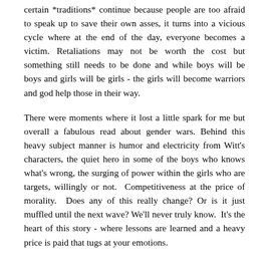certain *traditions* continue because people are too afraid to speak up to save their own asses, it turns into a vicious cycle where at the end of the day, everyone becomes a victim. Retaliations may not be worth the cost but something still needs to be done and while boys will be boys and girls will be girls - the girls will become warriors and god help those in their way.
There were moments where it lost a little spark for me but overall a fabulous read about gender wars. Behind this heavy subject manner is humor and electricity from Witt's characters, the quiet hero in some of the boys who knows what's wrong, the surging of power within the girls who are targets, willingly or not.  Competitiveness at the price of morality.  Does any of this really change? Or is it just muffled until the next wave? We'll never truly know.  It's the heart of this story - where lessons are learned and a heavy price is paid that tugs at your emotions.